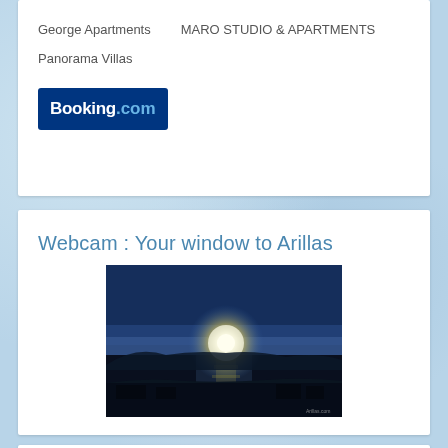George Apartments
MARO STUDIO & APARTMENTS
Panorama Villas
[Figure (logo): Booking.com logo with dark blue background, white 'Booking' text and blue '.com' text]
Webcam : Your window to Arillas
[Figure (photo): Webcam image of Arillas showing a sunset or sunrise over the sea with bright sun reflection on water, blue sky with haze, silhouette of hills and buildings in foreground]